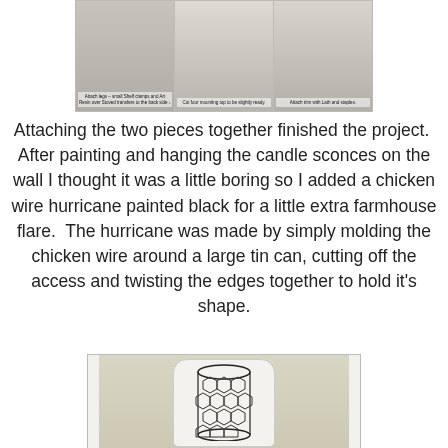[Figure (photo): Three step-by-step photos in a row showing construction stages of candle sconces on carpet background, with small captions below each photo]
Attaching the two pieces together finished the project.  After painting and hanging the candle sconces on the wall I thought it was a little boring so I added a chicken wire hurricane painted black for a little extra farmhouse flare.  The hurricane was made by simply molding the chicken wire around a large tin can, cutting off the access and twisting the edges together to hold it's shape.
[Figure (photo): Photo of a white painted candle sconce board with a black chicken wire cylinder hurricane placed in front of it, against a light yellow-green wall background]